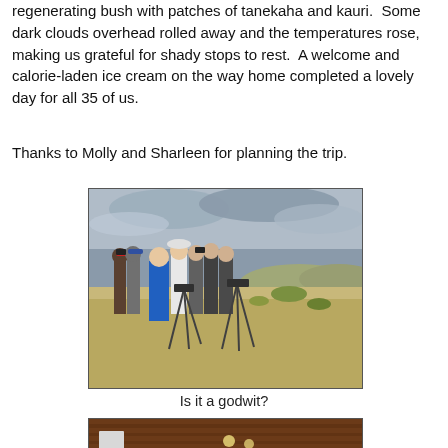regenerating bush with patches of tanekaha and kauri.  Some dark clouds overhead rolled away and the temperatures rose, making us grateful for shady stops to rest.  A welcome and calorie-laden ice cream on the way home completed a lovely day for all 35 of us.
Thanks to Molly and Sharleen for planning the trip.
[Figure (photo): Group of birdwatchers with binoculars and telescopes on tripods standing in a dry grassy field, looking in the same direction. Cloudy sky and hills in background. One person in a blue top is prominent.]
Is it a godwit?
[Figure (photo): Partial view of interior with wooden ceiling/beams and some lights visible at bottom of page.]